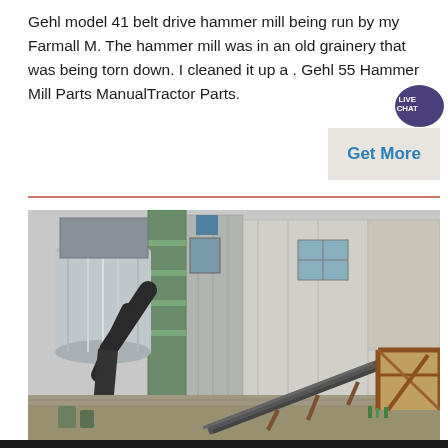Gehl model 41 belt drive hammer mill being run by my Farmall M. The hammer mill was in an old grainery that was being torn down. I cleaned it up a . Gehl 55 Hammer Mill Parts ManualTractor Parts.
[Figure (photo): Industrial grain mill or processing facility exterior showing metal silos, dust collection ducts, corrugated metal building walls, a conveyor belt, and structural steel framework]